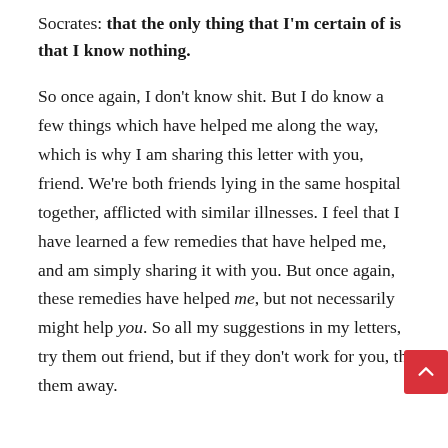Socrates: that the only thing that I'm certain of is that I know nothing.
So once again, I don't know shit. But I do know a few things which have helped me along the way, which is why I am sharing this letter with you, friend. We're both friends lying in the same hospital together, afflicted with similar illnesses. I feel that I have learned a few remedies that have helped me, and am simply sharing it with you. But once again, these remedies have helped me, but not necessarily might help you. So all my suggestions in my letters, try them out friend, but if they don't work for you, th them away.